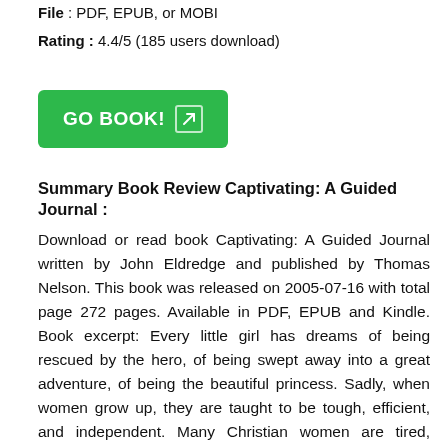File : PDF, EPUB, or MOBI
Rating : 4.4/5 (185 users download)
[Figure (other): Green 'GO BOOK!' button with arrow icon]
Summary Book Review Captivating: A Guided Journal :
Download or read book Captivating: A Guided Journal written by John Eldredge and published by Thomas Nelson. This book was released on 2005-07-16 with total page 272 pages. Available in PDF, EPUB and Kindle. Book excerpt: Every little girl has dreams of being rescued by the hero, of being swept away into a great adventure, of being the beautiful princess. Sadly, when women grow up, they are taught to be tough, efficient, and independent. Many Christian women are tired, struggling under the weight of the pressure to be a "good servant," a nurturing caregiver,